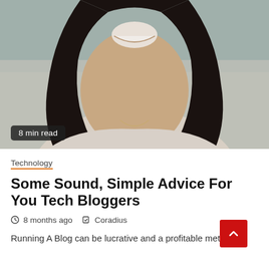[Figure (photo): Close-up portrait photo of a smiling young woman with long dark hair, wearing a light-colored top, with an outdoor blurred background. A badge reading '8 min read' is overlaid at the bottom-left.]
Technology
Some Sound, Simple Advice For You Tech Bloggers
8 months ago   Coradius
Running A Blog can be lucrative and a profitable method